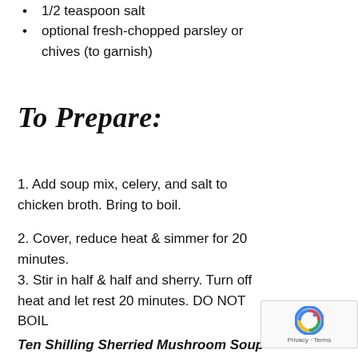1/2 teaspoon salt
optional fresh-chopped parsley or chives (to garnish)
To Prepare:
1. Add soup mix, celery, and salt to chicken broth. Bring to boil.
2. Cover, reduce heat & simmer for 20 minutes.
3. Stir in half & half and sherry. Turn off heat and let rest 20 minutes. DO NOT BOIL
Ten Shilling Sherried Mushroom Soup